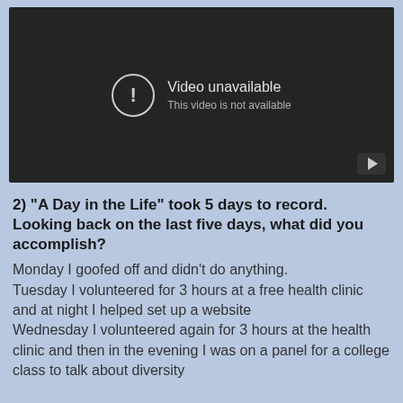[Figure (screenshot): A video player showing 'Video unavailable - This video is not available' message on a dark background, with a play button icon in the bottom right corner.]
2) "A Day in the Life" took 5 days to record. Looking back on the last five days, what did you accomplish? Monday I goofed off and didn't do anything. Tuesday I volunteered for 3 hours at a free health clinic and at night I helped set up a website Wednesday I volunteered again for 3 hours at the health clinic and then in the evening I was on a panel for a college class to talk about diversity